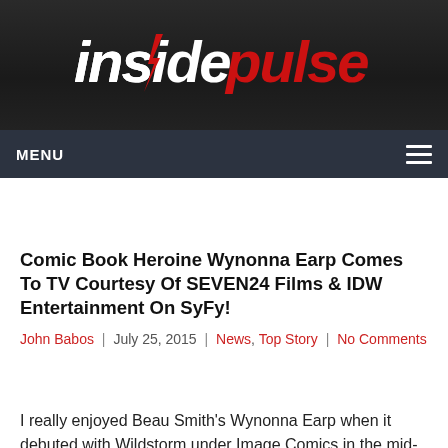[Figure (logo): Inside Pulse logo — white italic 'inside' text with red lightning bolt through the 'i', red italic 'pulse' text, on dark background]
MENU
Comic Book Heroine Wynonna Earp Comes To TV Courtesy Of SEVEN24 Films & IDW Entertainment On SyFy!
John Babos | July 25, 2015 | News, Top Story | No Comments
I really enjoyed Beau Smith's Wynonna Earp when it debuted with Wildstorm under Image Comics in the mid-1990s. In the early 2000's it moved to IDW and SMith has done few mini-series with